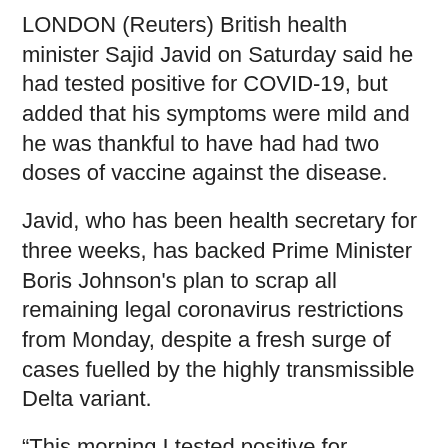LONDON (Reuters) British health minister Sajid Javid on Saturday said he had tested positive for COVID-19, but added that his symptoms were mild and he was thankful to have had had two doses of vaccine against the disease.
Javid, who has been health secretary for three weeks, has backed Prime Minister Boris Johnson's plan to scrap all remaining legal coronavirus restrictions from Monday, despite a fresh surge of cases fuelled by the highly transmissible Delta variant.
“This morning I tested positive for COVID,” Javid said in a tweet, adding he had taken a rapid lateral flow test, and was awaiting confirmation from a PCR test, which needs processing in a laboratory.
“I’m waiting for my PCR result, but thankfully I have had my jabs and symptoms are mild.”
Javid tweeted on March 17 that he had received a first shot of Oxford/AstraZeneca’s COVID-19 vaccine, posting a picture